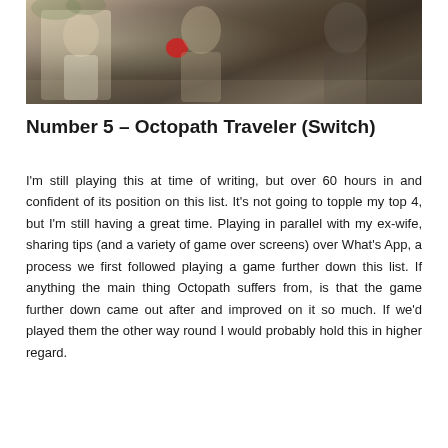[Figure (illustration): Artwork from Octopath Traveler showing fantasy characters including a woman in white dress and another figure in dark robes, in a painterly illustrated style]
Number 5 – Octopath Traveler (Switch)
I'm still playing this at time of writing, but over 60 hours in and confident of its position on this list. It's not going to topple my top 4, but I'm still having a great time. Playing in parallel with my ex-wife, sharing tips (and a variety of game over screens) over What's App, a process we first followed playing a game further down this list. If anything the main thing Octopath suffers from, is that the game further down came out after and improved on it so much. If we'd played them the other way round I would probably hold this in higher regard.